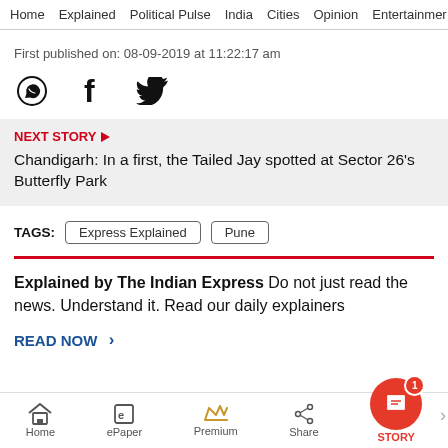Home  Explained  Political Pulse  India  Cities  Opinion  Entertainment
First published on: 08-09-2019 at 11:22:17 am
[Figure (other): Social share icons: WhatsApp, Facebook, Twitter]
NEXT STORY
Chandigarh: In a first, the Tailed Jay spotted at Sector 26's Butterfly Park
TAGS: Express Explained  Pune
Explained by The Indian Express Do not just read the news. Understand it. Read our daily explainers
READ NOW >
Home  ePaper  Premium  Share  STORY